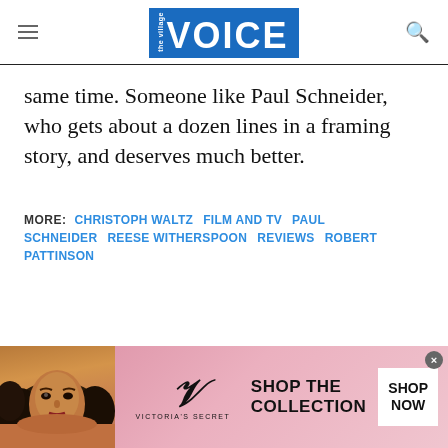the Village Voice
same time. Someone like Paul Schneider, who gets about a dozen lines in a framing story, and deserves much better.
MORE: CHRISTOPH WALTZ  FILM AND TV  PAUL SCHNEIDER  REESE WITHERSPOON  REVIEWS  ROBERT PATTINSON
[Figure (photo): Victoria's Secret advertisement banner featuring a model with curly hair, the VS logo, text 'SHOP THE COLLECTION', and a 'SHOP NOW' button]